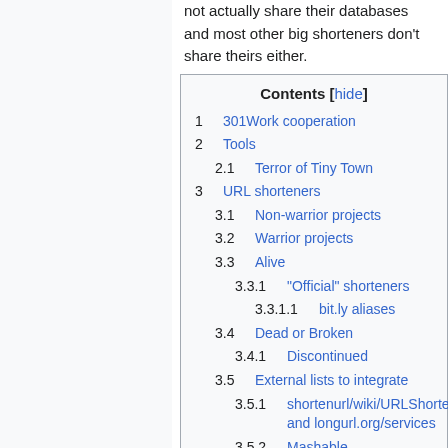not actually share their databases and most other big shorteners don't share theirs either.
Contents [hide]
1  301Work cooperation
2  Tools
2.1  Terror of Tiny Town
3  URL shorteners
3.1  Non-warrior projects
3.2  Warrior projects
3.3  Alive
3.3.1  "Official" shorteners
3.3.1.1  bit.ly aliases
3.4  Dead or Broken
3.4.1  Discontinued
3.5  External lists to integrate
3.5.1  shortenurl/wiki/URLShortening and longurl.org/services
3.5.2  Mashable
3.5.3  bit.do/list-of-url-shorteners